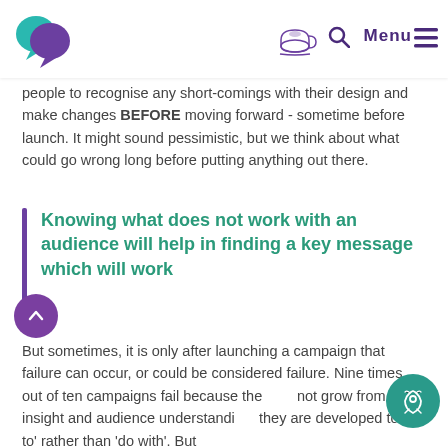[Logo] [Tea cup icon] [Search icon] Menu [Hamburger icon]
people to recognise any short-comings with their design and make changes BEFORE moving forward - sometime before launch. It might sound pessimistic, but we think about what could go wrong long before putting anything out there.
Knowing what does not work with an audience will help in finding a key message which will work
But sometimes, it is only after launching a campaign that failure can occur, or could be considered failure. Nine times out of ten campaigns fail because they did not grow from insight and audience understanding, they are developed to 'do to' rather than 'do with'. But